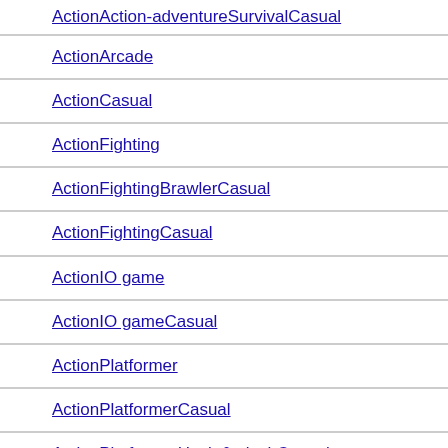ActionAction-adventureSurvivalCasual
ActionArcade
ActionCasual
ActionFighting
ActionFightingBrawlerCasual
ActionFightingCasual
ActionIO game
ActionIO gameCasual
ActionPlatformer
ActionPlatformerCasual
ActionPlatformerHack & slashCasual
ActionPlatformerRun & gunCasual
ActionPlatformerRunner